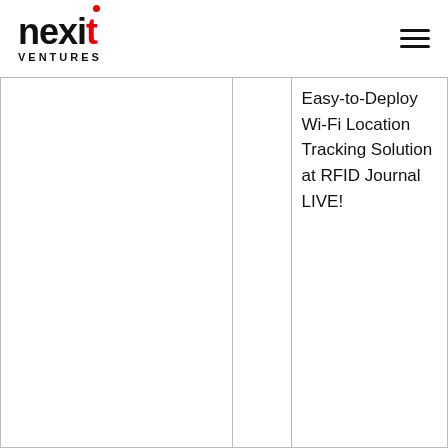nexit VENTURES
|  |  | Easy-to-Deploy Wi-Fi Location Tracking Solution at RFID Journal LIVE! |
|  |  |  |
| 3 Mar 2008, Ekahau |  | AT4 wireless and Ekahau Partner to Deploy Combined Asset and Staff Tracking Solution for Hospitals |